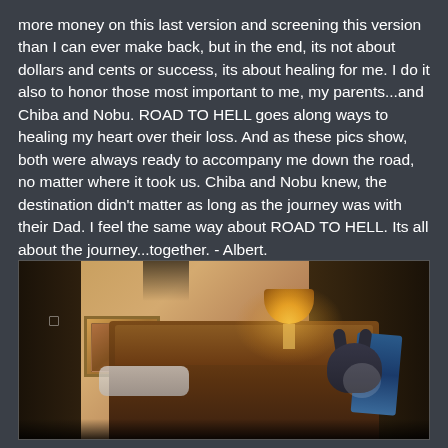more money on this last version and screening this version than I can ever make back, but in the end, its not about dollars and cents or success, its about healing for me. I do it also to honor those most important to me, my parents...and Chiba and Nobu. ROAD TO HELL goes along ways to healing my heart over their loss. And as these pics show, both were always ready to accompany me down the road, no matter where it took us. Chiba and Nobu knew, the destination didn't matter as long as the journey was with their Dad. I feel the same way about ROAD TO HELL. Its all about the journey...together. - Albert.
[Figure (photo): A dimly lit hotel room interior showing a warm lamp glowing on a nightstand beside a wooden headboard. A framed picture hangs on the left wall. What appears to be a dog or cat silhouette is visible in the foreground right, along with what looks like a blue piece of clothing.]